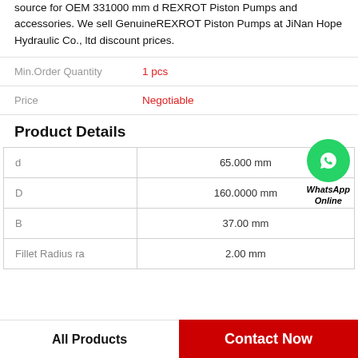source for OEM 331000 mm d REXROT Piston Pumps and accessories. We sell GenuineREXROT Piston Pumps at JiNan Hope Hydraulic Co., ltd discount prices.
Min.Order Quantity    1 pcs
Price    Negotiable
Product Details
| d | 65.000 mm |
| D | 160.0000 mm |
| B | 37.00 mm |
| Fillet Radius ra | 2.00 mm |
All Products
Contact Now